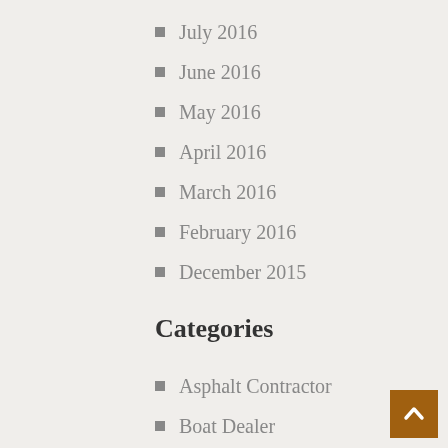July 2016
June 2016
May 2016
April 2016
March 2016
February 2016
December 2015
Categories
Asphalt Contractor
Boat Dealer
Building & Construction materials
Building Construction
Carpet Installation
Chimney Sweep
Cleaning